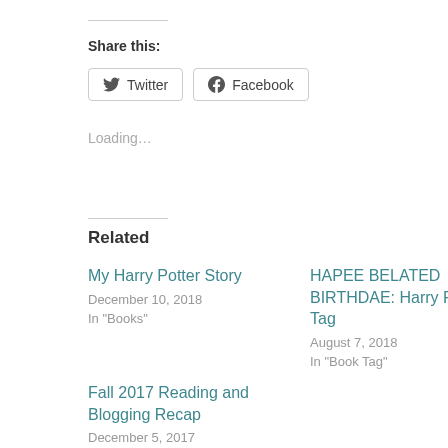Share this:
Twitter  Facebook
Loading...
Related
My Harry Potter Story
December 10, 2018
In "Books"
HAPEE BELATED BIRTHDAE: Harry Potter Tag
August 7, 2018
In "Book Tag"
Fall 2017 Reading and Blogging Recap
December 5, 2017
In "Books"